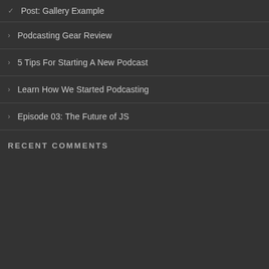Post: Gallery Example
Podcasting Gear Review
5 Tips For Starting A New Podcast
Learn How We Started Podcasting
Episode 03: The Future of JS
RECENT COMMENTS